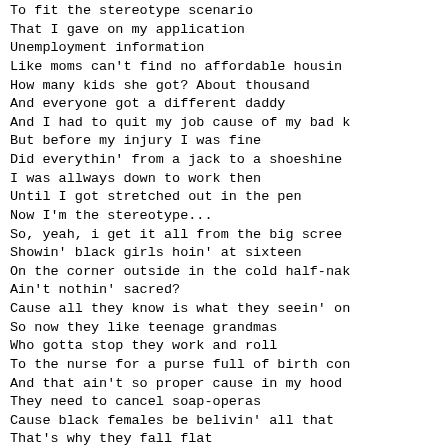To fit the stereotype scenario
That I gave on my application
Unemployment information
Like moms can't find no affordable housing
How many kids she got? About thousand
And everyone got a different daddy
And I had to quit my job cause of my bad k
But before my injury I was fine
Did everythin' from a jack to a shoeshine
I was allways down to work then
Until I got stretched out in the pen
Now I'm the stereotype...
So, yeah, i get it all from the big screen
Showin' black girls hoin' at sixteen
On the corner outside in the cold half-nak
Ain't nothin' sacred?
Cause all they know is what they seein' on
So now they like teenage grandmas
Who gotta stop they work and roll
To the nurse for a purse full of birth con
And that ain't so proper cause in my hood
They need to cancel soap-operas
Cause black females be belivin' all that
That's why they fall flat
So young and innocent
But by the time they ready right